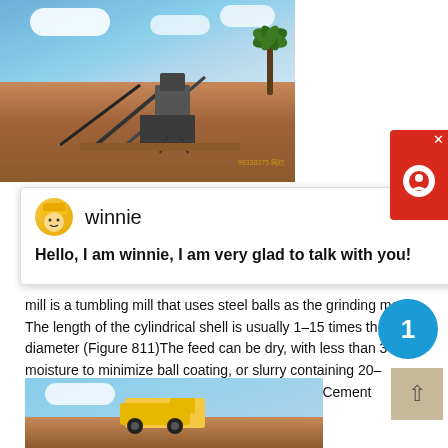[Figure (photo): Mining/quarrying site with conveyor belts, crushing machinery, red/orange excavated earth, palm trees, and blue sky with clouds. Watermark text visible.]
Hello, I am winnie, I am very glad to talk with you!
mill is a tumbling mill that uses steel balls as the grinding media. The length of the cylindrical shell is usually 1–15 times the diameter (Figure 811)The feed can be dry, with less than 3% moisture to minimize ball coating, or slurry containing 20–40%BALL MILL MAINTENANCE COURSE The Cement
get price
[Figure (photo): Mining/construction site with large vehicle/truck, excavated earth, and blue sky with clouds.]